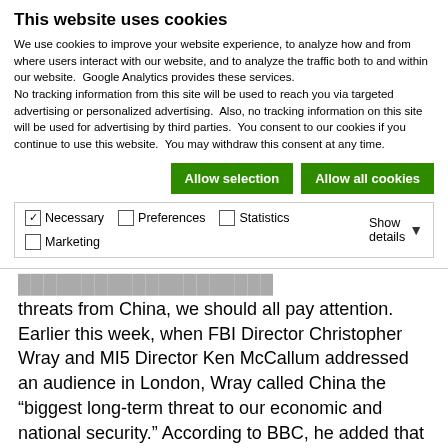This website uses cookies
We use cookies to improve your website experience, to analyze how and from where users interact with our website, and to analyze the traffic both to and within our website.  Google Analytics provides these services.
No tracking information from this site will be used to reach you via targeted advertising or personalized advertising.  Also, no tracking information on this site will be used for advertising by third parties.  You consent to our cookies if you continue to use this website.  You may withdraw this consent at any time.
Allow selection    Allow all cookies
| ✓ Necessary | ☐ Preferences | ☐ Statistics | Show details ▾ |
| ☐ Marketing |  |  |  |
threats from China, we should all pay attention. Earlier this week, when FBI Director Christopher Wray and MI5 Director Ken McCallum addressed an audience in London, Wray called China the “biggest long-term threat to our economic and national security.” According to BBC, he added that China had interfered in politics and recent elections and warned the audience, which included leaders from business and universities that the Chinese government is “set on stealing your technology.” McCallum